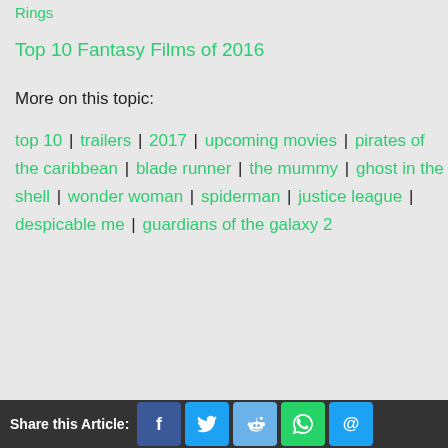Rings
Top 10 Fantasy Films of 2016
More on this topic:
top 10 | trailers | 2017 | upcoming movies | pirates of the caribbean | blade runner | the mummy | ghost in the shell | wonder woman | spiderman | justice league | despicable me | guardians of the galaxy 2
Share this Article: